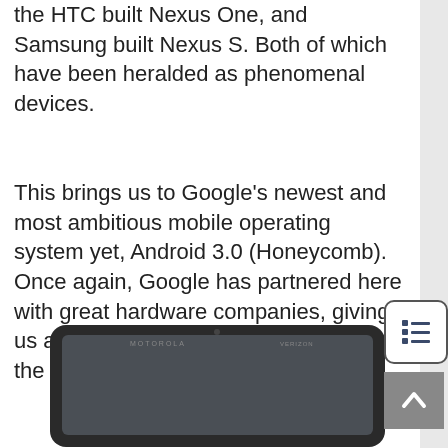the HTC built Nexus One, and Samsung built Nexus S. Both of which have been heralded as phenomenal devices.
This brings us to Google's newest and most ambitious mobile operating system yet, Android 3.0 (Honeycomb). Once again, Google has partnered here with great hardware companies, giving us a Motorola built device, powered by the NVIDIA Tegra 2 ARM SoC.
[Figure (photo): A Motorola tablet device (Xoom) showing the front face with a dark screen, with MOTOROLA branding visible at the top and Verizon logo.]